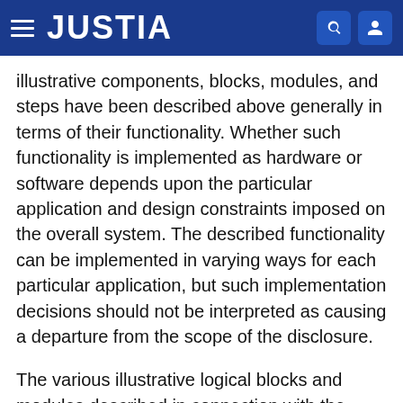JUSTIA
illustrative components, blocks, modules, and steps have been described above generally in terms of their functionality. Whether such functionality is implemented as hardware or software depends upon the particular application and design constraints imposed on the overall system. The described functionality can be implemented in varying ways for each particular application, but such implementation decisions should not be interpreted as causing a departure from the scope of the disclosure.
The various illustrative logical blocks and modules described in connection with the embodiments disclosed herein can be implemented or performed by a machine, such as a general purpose processor, a digital signal processor (DSP), an application specific integrated circuit (ASIC), a field programmable gate array (FPGA) or